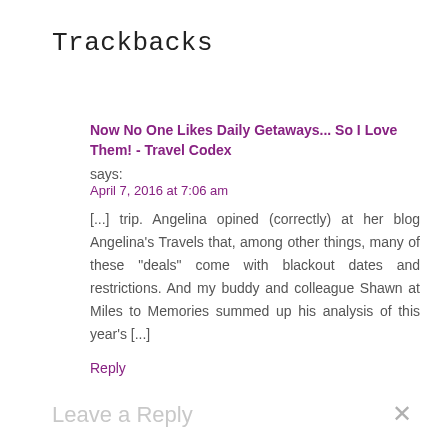Trackbacks
Now No One Likes Daily Getaways... So I Love Them! - Travel Codex says:
April 7, 2016 at 7:06 am
[...] trip. Angelina opined (correctly) at her blog Angelina’s Travels that, among other things, many of these “deals” come with blackout dates and restrictions. And my buddy and colleague Shawn at Miles to Memories summed up his analysis of this year’s [...]
Reply
Leave a Reply